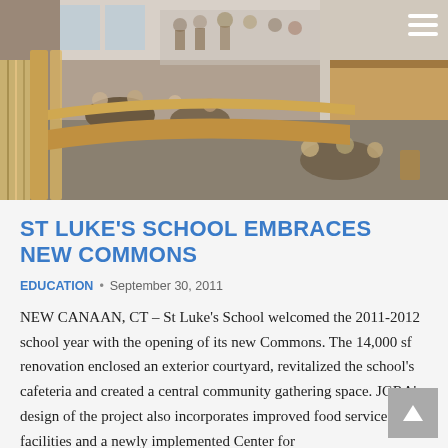[Figure (photo): Aerial/elevated view of St Luke's School Commons interior showing students seated at tables in a cafeteria/gathering space, with wooden railings in the foreground and a mezzanine level visible]
ST LUKE'S SCHOOL EMBRACES NEW COMMONS
EDUCATION • September 30, 2011
NEW CANAAN, CT – St Luke's School welcomed the 2011-2012 school year with the opening of its new Commons. The 14,000 sf renovation enclosed an exterior courtyard, revitalized the school's cafeteria and created a central community gathering space. JGRA's design of the project also incorporates improved food service facilities and a newly implemented Center for